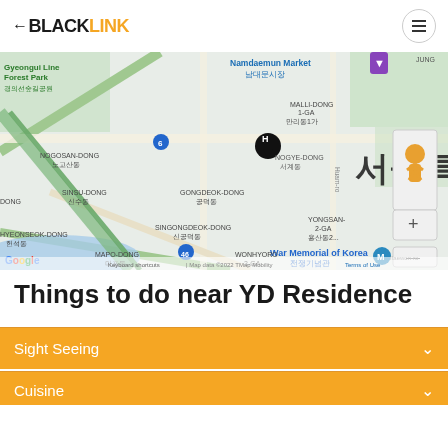BLACKLINK
[Figure (map): Google Maps view of Seoul, South Korea, showing districts including Gyeongui Line Forest Park, Namdaemun Market, Malli-dong 1-ga, Nogye-dong, Sinsu-dong, Gongdeok-dong, Singongdeok-dong, Yongsan, Mapo-dong, Wonhyoro, War Memorial of Korea, with a location pin marked H. Map data ©2022 TMap Mobility.]
Things to do near YD Residence
Sight Seeing
Cuisine